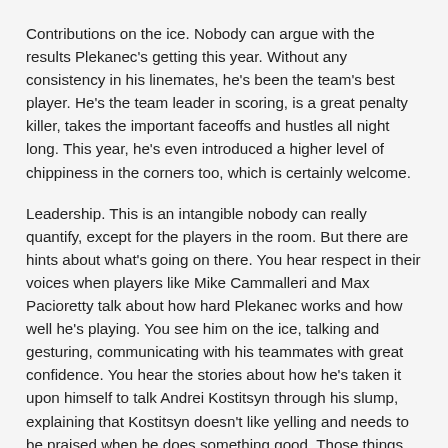Contributions on the ice. Nobody can argue with the results Plekanec's getting this year. Without any consistency in his linemates, he's been the team's best player. He's the team leader in scoring, is a great penalty killer, takes the important faceoffs and hustles all night long. This year, he's even introduced a higher level of chippiness in the corners too, which is certainly welcome.
Leadership. This is an intangible nobody can really quantify, except for the players in the room. But there are hints about what's going on there. You hear respect in their voices when players like Mike Cammalleri and Max Pacioretty talk about how hard Plekanec works and how well he's playing. You see him on the ice, talking and gesturing, communicating with his teammates with great confidence. You hear the stories about how he's taken it upon himself to talk Andrei Kostitsyn through his slump, explaining that Kostitsyn doesn't like yelling and needs to be praised when he does something good. Those things say "leader" to me, but of course, they don't tell the whole story. Only his teammates know that part.